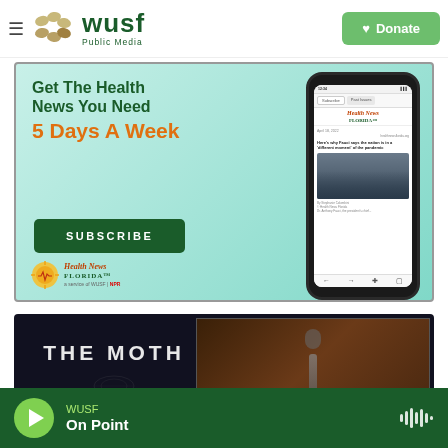WUSF Public Media — Donate
[Figure (advertisement): Health News Florida advertisement: Get The Health News You Need 5 Days A Week — Subscribe button, Health News Florida logo, phone mockup showing newsletter]
[Figure (advertisement): The Moth podcast/show banner advertisement with dark background]
WUSF — On Point (audio player bar)